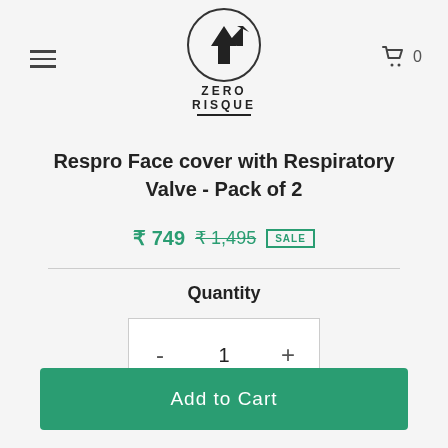[Figure (logo): Zero Risque brand logo: circular arrow/R icon with 'ZERO RISQUE' text below]
Respro Face cover with Respiratory Valve - Pack of 2
₹ 749  ₹ 1,495  SALE
Quantity
- 1 +
Add to Cart